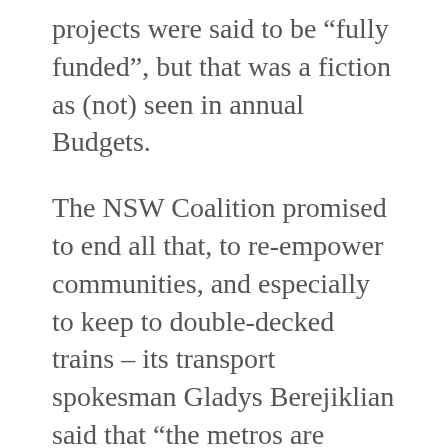projects were said to be “fully funded”, but that was a fiction as (not) seen in annual Budgets.
The NSW Coalition promised to end all that, to re-empower communities, and especially to keep to double-decked trains – its transport spokesman Gladys Berejiklian said that “the metros are dead”. The new Infrastructure NSW under the Liberals’ greatest Premier, Nick Greiner; with Sir Rod Eddington in the national equivalent, were to ensure that the machinery met the electoral promises.